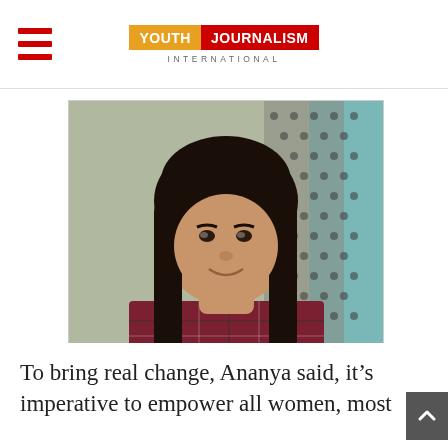Youth Journalism International
[Figure (photo): Portrait photo of a young woman named Ananya with long dark hair, wearing a red plaid shirt, smiling at the camera with a fence/grate visible in the background]
Ananya
To bring real change, Ananya said, it's imperative to empower all women, most